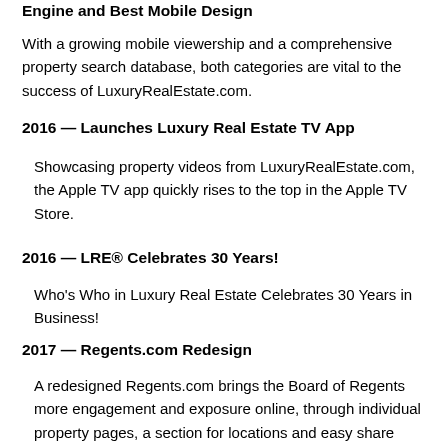Engine and Best Mobile Design
With a growing mobile viewership and a comprehensive property search database, both categories are vital to the success of LuxuryRealEstate.com.
2016 — Launches Luxury Real Estate TV App
Showcasing property videos from LuxuryRealEstate.com, the Apple TV app quickly rises to the top in the Apple TV Store.
2016 — LRE® Celebrates 30 Years!
Who's Who in Luxury Real Estate Celebrates 30 Years in Business!
2017 — Regents.com Redesign
A redesigned Regents.com brings the Board of Regents more engagement and exposure online, through individual property pages, a section for locations and easy share options.